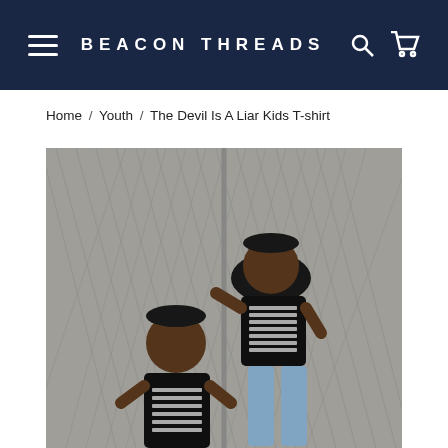BEACON THREADS
Home / Youth / The Devil Is A Liar Kids T-shirt
[Figure (photo): Two young boys wearing black 'The Devil Is A Liar' t-shirts standing against a chain-link fence and brick wall background.]